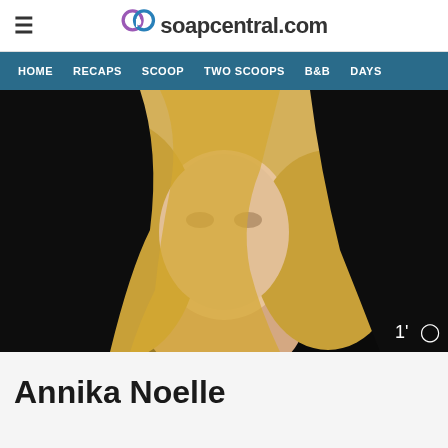soapcentral.com
HOME   RECAPS   SCOOP   TWO SCOOPS   B&B   DAYS
[Figure (photo): Portrait photo of Annika Noelle, a blonde woman with wavy hair, against a dark background. A video duration badge '1' with a timer icon appears in the bottom right.]
Annika Noelle